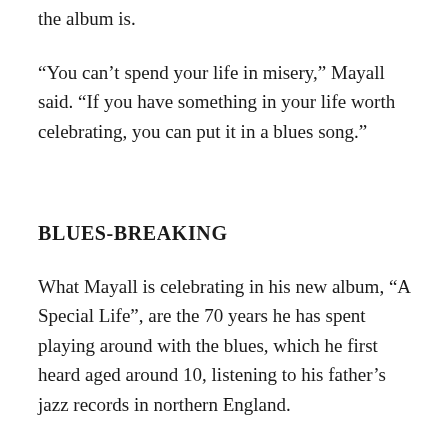the album is.
“You can’t spend your life in misery,” Mayall said. “If you have something in your life worth celebrating, you can put it in a blues song.”
BLUES-BREAKING
What Mayall is celebrating in his new album, “A Special Life”, are the 70 years he has spent playing around with the blues, which he first heard aged around 10, listening to his father’s jazz records in northern England.